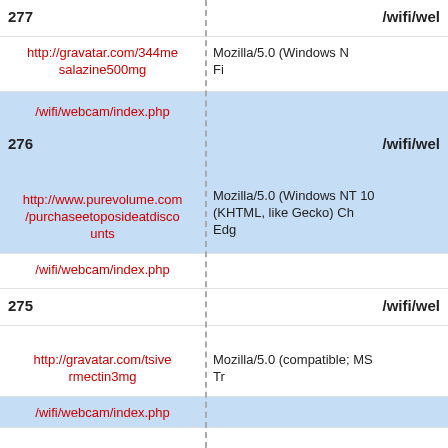| # | URL / referrer | User-Agent |
| --- | --- | --- |
| 277 | http://gravatar.com/344me
salazine500mg | Mozilla/5.0 (Windows N…
Fi… |
|  | /wifi/webcam/index.php |  |
| 276 | http://www.purevolume.com
/purchaseetoposideatdiscounts | Mozilla/5.0 (Windows NT 10…
(KHTML, like Gecko) Ch…
Edg… |
|  | /wifi/webcam/index.php |  |
| 275 | http://gravatar.com/tsivermectin3mg | Mozilla/5.0 (compatible; MS…
Tr… |
|  | /wifi/webcam/index.php |  |